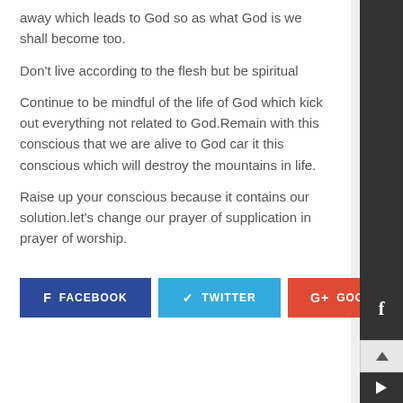away which leads to God so as what God is we shall become too.
Don't live according to the flesh but be spiritual
Continue to be mindful of the life of God which kick out everything not related to God.Remain with this conscious that we are alive to God car it this conscious which will destroy the mountains in life.
Raise up your conscious because it contains our solution.let's change our prayer of supplication in prayer of worship.
[Figure (other): Social share buttons: FACEBOOK (blue), TWITTER (light blue), GOOGLE+ (red), and a dark sidebar with Facebook icon and navigation arrows]